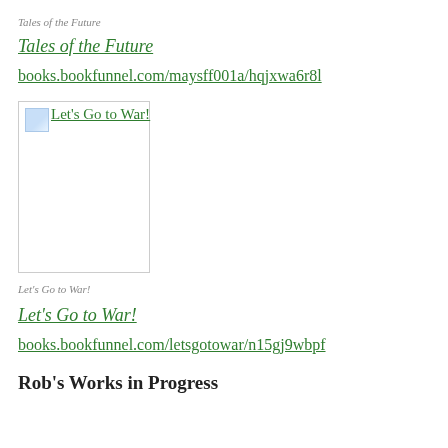Tales of the Future
Tales of the Future
books.bookfunnel.com/maysff001a/hqjxwa6r8l
[Figure (illustration): Broken image placeholder with alt text 'Let's Go to War!' shown as a linked image thumbnail]
Let's Go to War!
Let's Go to War!
books.bookfunnel.com/letsgotowar/n15gj9wbpf
Rob's Works in Progress